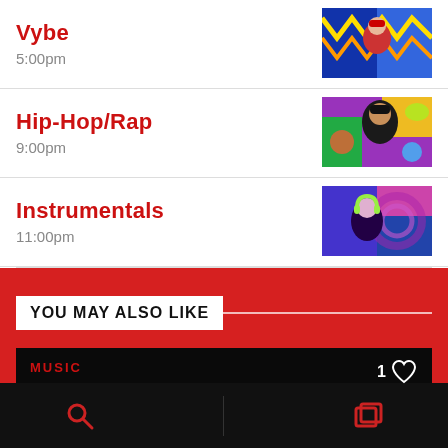Vybe
5:00pm
Hip-Hop/Rap
9:00pm
Instrumentals
11:00pm
YOU MAY ALSO LIKE
[Figure (screenshot): Music card with dark background showing a person wearing an Atlanta Braves cap, with MUSIC label in red and a heart/like icon showing 1 like]
Search and Collections navigation bar